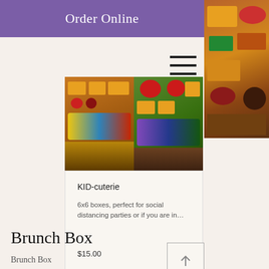Order Online
[Figure (photo): Food photo on the right side showing charcuterie/snack items with colorful elements]
[Figure (photo): Charcuterie spread with cheese cubes, fruits, crackers and colorful snack packages]
KID-cuterie
6x6 boxes, perfect for social distancing parties or if you are in…
$15.00
Brunch Box
Brunch Box